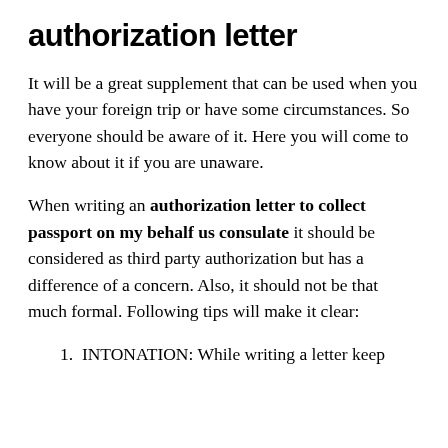authorization letter
It will be a great supplement that can be used when you have your foreign trip or have some circumstances. So everyone should be aware of it. Here you will come to know about it if you are unaware.
When writing an authorization letter to collect passport on my behalf us consulate it should be considered as third party authorization but has a difference of a concern. Also, it should not be that much formal. Following tips will make it clear:
1. INTONATION: While writing a letter keep